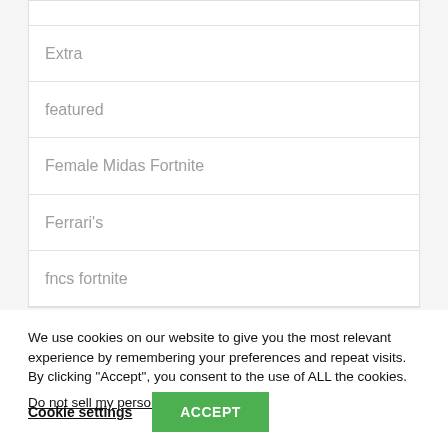Extra
featured
Female Midas Fortnite
Ferrari's
fncs fortnite
We use cookies on our website to give you the most relevant experience by remembering your preferences and repeat visits. By clicking “Accept”, you consent to the use of ALL the cookies.
Do not sell my personal information.
Cookie settings
ACCEPT